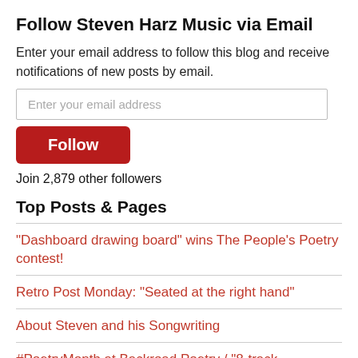Follow Steven Harz Music via Email
Enter your email address to follow this blog and receive notifications of new posts by email.
Enter your email address
Follow
Join 2,879 other followers
Top Posts & Pages
"Dashboard drawing board" wins The People's Poetry contest!
Retro Post Monday: "Seated at the right hand"
About Steven and his Songwriting
#PoetryMonth at Backroad Poetry / "8-track